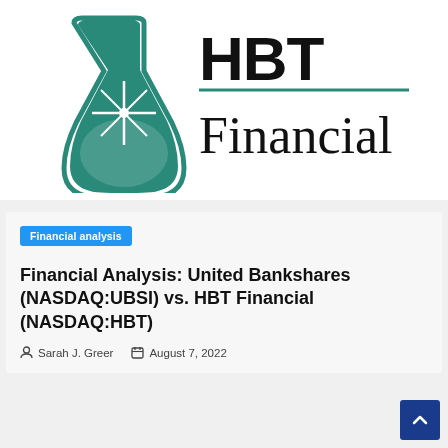[Figure (logo): HBT Financial logo with teal/green flask icon and 'HBT Financial' text in black serif font]
Financial analysis
Financial Analysis: United Bankshares (NASDAQ:UBSI) vs. HBT Financial (NASDAQ:HBT)
Sarah J. Greer   August 7, 2022